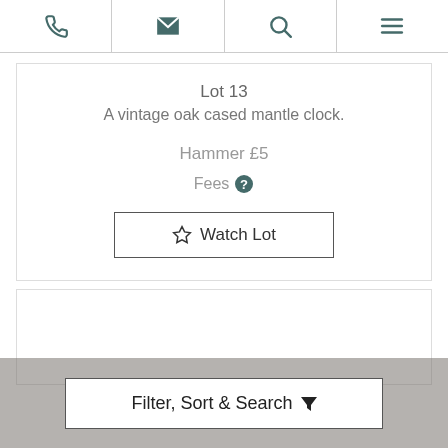Navigation bar with phone, email, search, and menu icons
Lot 13
A vintage oak cased mantle clock.
Hammer £5
Fees ?
☆ Watch Lot
[Figure (other): Blank second lot card area]
Filter, Sort & Search ▼